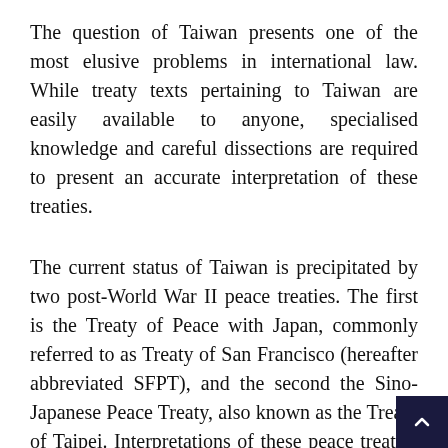The question of Taiwan presents one of the most elusive problems in international law. While treaty texts pertaining to Taiwan are easily available to anyone, specialised knowledge and careful dissections are required to present an accurate interpretation of these treaties.
The current status of Taiwan is precipitated by two post-World War II peace treaties. The first is the Treaty of Peace with Japan, commonly referred to as Treaty of San Francisco (hereafter abbreviated SFPT), and the second the Sino-Japanese Peace Treaty, also known as the Treaty of Taipei. Interpretations of these peace treaties have been the subject of contentious debates among political factions in Taiwan and